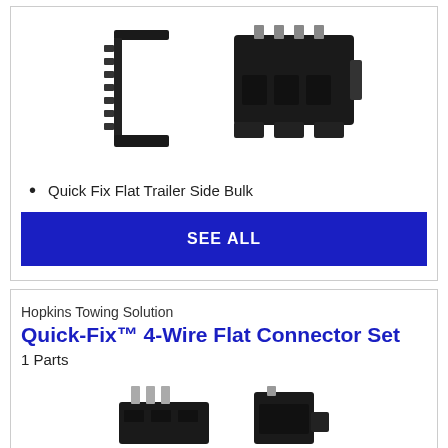[Figure (photo): Two black plastic trailer connector components shown side by side - a flat bracket-style component on left and a multi-pin block connector on right]
Quick Fix Flat Trailer Side Bulk
SEE ALL
Hopkins Towing Solution
Quick-Fix™ 4-Wire Flat Connector Set
1 Parts
[Figure (photo): Two black plastic 4-wire flat connector components shown side by side at bottom of page]